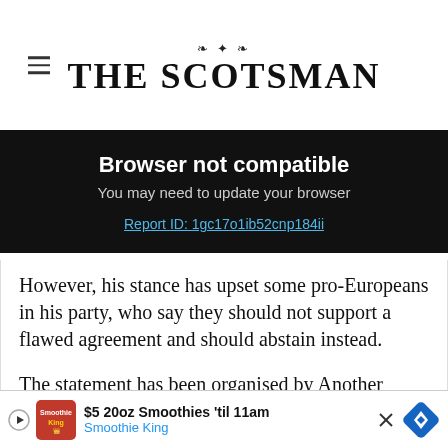THE SCOTSMAN
Browser not compatible
You may need to update your browser
Report ID: 1gc17o1ib52cnp184ii
However, his stance has upset some pro-Europeans in his party, who say they should not support a flawed agreement and should abstain instead.
The statement has been organised by Another Europe Is Possible and Labour For A So... att...
[Figure (screenshot): Bottom advertisement banner for Smoothie King: '$5 20oz Smoothies 'til 11am / Smoothie King' with play button, logo, close button, and navigation diamond icon]